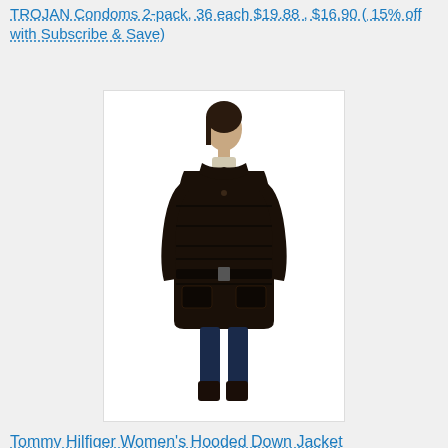TROJAN Condoms 2-pack, 36 each $19.88 , $16.90 ( 15% off with Subscribe & Save)
[Figure (photo): Product photo of a woman wearing a Tommy Hilfiger dark brown/black hooded down jacket with belt, displayed against white background]
Tommy Hilfiger Women's Hooded Down Jacket
$199.99 $74.94 – $128.00
Price: $71.99 – $95.99
[Figure (photo): Partial product photo of a woman wearing a hooded down jacket, partially visible at bottom of page]